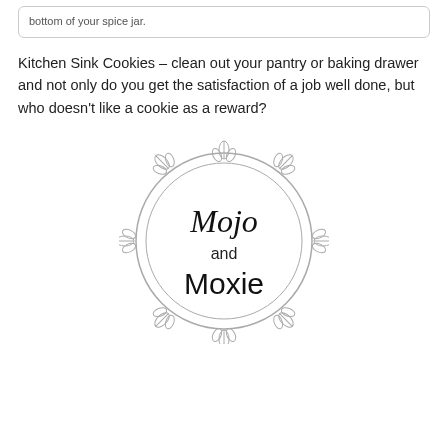bottom of your spice jar.
Kitchen Sink Cookies – clean out your pantry or baking drawer and not only do you get the satisfaction of a job well done, but who doesn't like a cookie as a reward?
[Figure (logo): Circular wreath logo with leaf decorations around the border, containing the text 'Mojo and Moxie' in mixed script and serif fonts.]